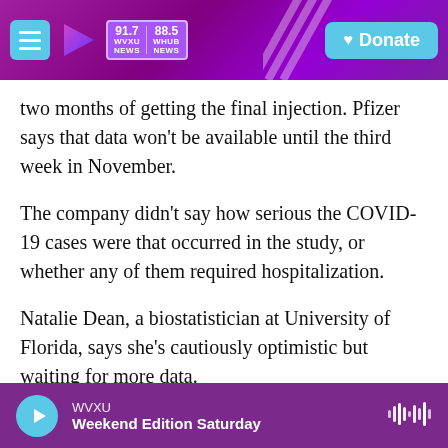WVXU 91.7 NEWS | 88.5 WHUB NEWS | Donate
two months of getting the final injection. Pfizer says that data won't be available until the third week in November.
The company didn't say how serious the COVID-19 cases were that occurred in the study, or whether any of them required hospitalization.
Natalie Dean, a biostatistician at University of Florida, says she's cautiously optimistic but waiting for more data.
"There remain many open questions, such as how
WVXU | Weekend Edition Saturday